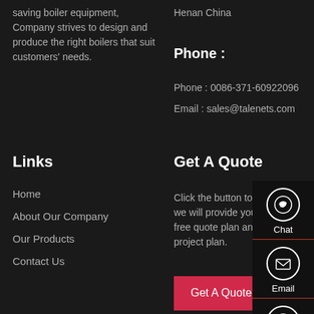saving boiler equipment, Company strives to design and produce the right boilers that suit customers' needs.
Henan China
Phone :
Phone : 0086-371-60922096
Email : sales@talenets.com
Links
Home
About Our Company
Our Products
Contact Us
Get A Quote
Click the button to contact us, we will provide you with a free quote plan and detailed project plan.
[Figure (infographic): Sidebar with Chat, Email, and Contact icons]
Get A Quote For Free